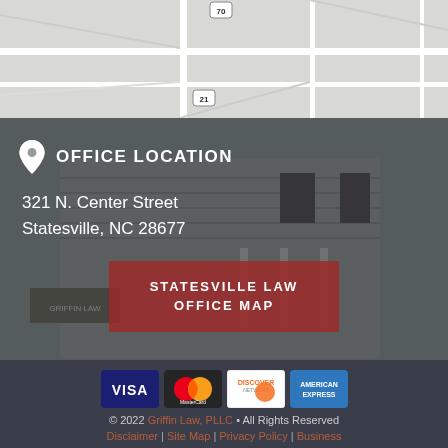[Figure (map): Partial street map showing road intersections with route markers 70 and 21]
[Figure (photo): Gray/dark-toned photo of a law office building (Griffin Law) with a porch and American flag, overlaid with office location information]
OFFICE LOCATION
321 N. Center Street
Statesville, NC 28677
STATESVILLE LAW OFFICE MAP
[Figure (other): Payment method logos: Visa, MasterCard, Discover, American Express]
© 2022 Griffin Law, PLLC • All Rights Reserved
Disclaimer | Site Map | Privacy Policy | Business